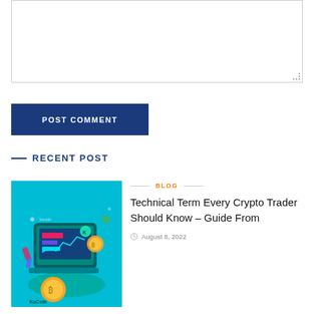[Figure (other): Text area input box with resize handle, empty/blank content area]
POST COMMENT
RECENT POST
[Figure (illustration): KuCoin cryptocurrency trading platform illustration with laptop, Bitcoin coin, and colorful design elements on teal background]
BLOG
Technical Term Every Crypto Trader Should Know – Guide From
August 8, 2022